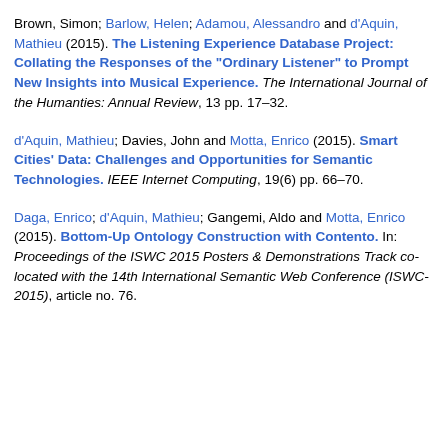Brown, Simon; Barlow, Helen; Adamou, Alessandro and d'Aquin, Mathieu (2015). The Listening Experience Database Project: Collating the Responses of the "Ordinary Listener" to Prompt New Insights into Musical Experience. The International Journal of the Humanties: Annual Review, 13 pp. 17–32.
d'Aquin, Mathieu; Davies, John and Motta, Enrico (2015). Smart Cities' Data: Challenges and Opportunities for Semantic Technologies. IEEE Internet Computing, 19(6) pp. 66–70.
Daga, Enrico; d'Aquin, Mathieu; Gangemi, Aldo and Motta, Enrico (2015). Bottom-Up Ontology Construction with Contento. In: Proceedings of the ISWC 2015 Posters & Demonstrations Track co-located with the 14th International Semantic Web Conference (ISWC-2015), article no. 76.